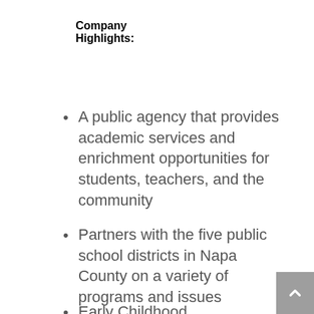Company Highlights:
A public agency that provides academic services and enrichment opportunities for students, teachers, and the community
Partners with the five public school districts in Napa County on a variety of programs and issues
Early Childhood